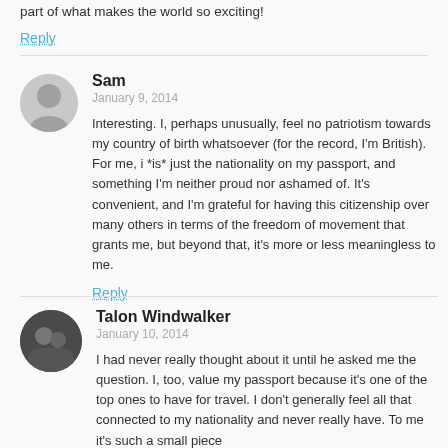part of what makes the world so exciting!
Reply
Sam
January 9, 2014
Interesting. I, perhaps unusually, feel no patriotism towards my country of birth whatsoever (for the record, I'm British). For me, i *is* just the nationality on my passport, and something I'm neither proud nor ashamed of. It's convenient, and I'm grateful for having this citizenship over many others in terms of the freedom of movement that grants me, but beyond that, it's more or less meaningless to me.
Reply
Talon Windwalker
January 10, 2014
I had never really thought about it until he asked me the question. I, too, value my passport because it's one of the top ones to have for travel. I don't generally feel all that connected to my nationality and never really have. To me it's such a small piece